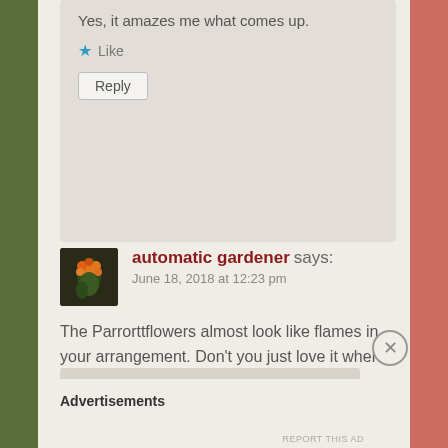Yes, it amazes me what comes up.
Like
Reply
automatic gardener says:
June 18, 2018 at 12:23 pm
The Parrorttflowers almost look like flames in your arrangement. Don’t you just love it when plants put themselves in the right place?
Liked by 1 person
Reply
Advertisements